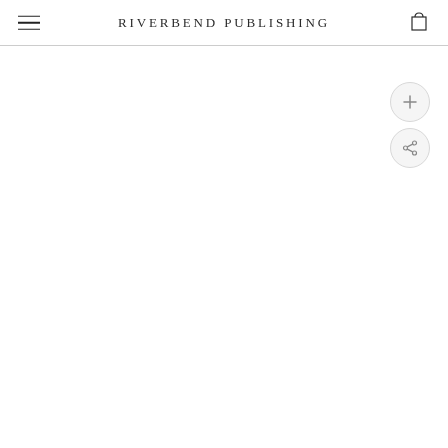RIVERBEND PUBLISHING
[Figure (screenshot): Main content area of Riverbend Publishing website, mostly blank white space with circular action buttons (plus and share) on the right side]
[Figure (illustration): Plus button circle icon on right side]
[Figure (illustration): Share button circle icon on right side]